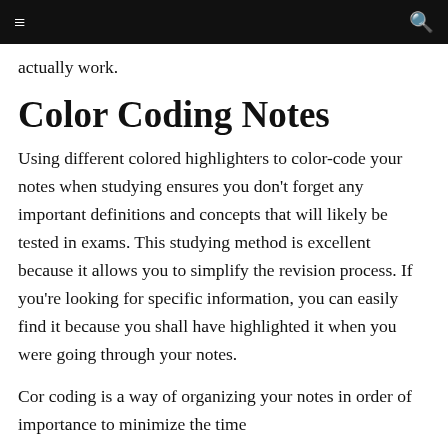≡  [search icon]
actually work.
Color Coding Notes
Using different colored highlighters to color-code your notes when studying ensures you don't forget any important definitions and concepts that will likely be tested in exams. This studying method is excellent because it allows you to simplify the revision process. If you're looking for specific information, you can easily find it because you shall have highlighted it when you were going through your notes.
Cor coding is a way of organizing your notes in order of importance to minimize the time